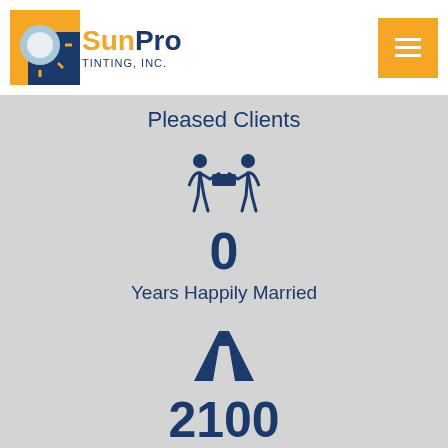[Figure (logo): SunPro Tinting, Inc. logo with sun graphic and orange/blue color scheme]
Pleased Clients
[Figure (infographic): Two people icon (couple/marriage icon) in dark blue]
0
Years Happily Married
[Figure (infographic): Road/highway icon in dark blue]
2100
Sq. Mi. Served